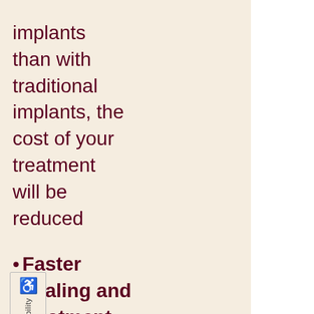implants than with traditional implants, the cost of your treatment will be reduced
Faster healing and treatment time. The replacement arch and implants will be attached